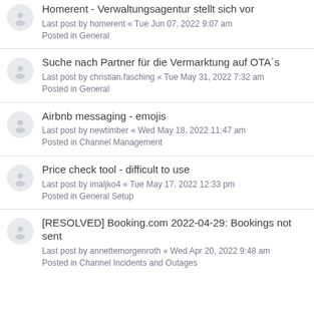Homerent - Verwaltungsagentur stellt sich vor
Last post by homerent « Tue Jun 07, 2022 9:07 am
Posted in General
Suche nach Partner für die Vermarktung auf OTA´s
Last post by christian.fasching « Tue May 31, 2022 7:32 am
Posted in General
Airbnb messaging - emojis
Last post by newtimber « Wed May 18, 2022 11:47 am
Posted in Channel Management
Price check tool - difficult to use
Last post by imaljko4 « Tue May 17, 2022 12:33 pm
Posted in General Setup
[RESOLVED] Booking.com 2022-04-29: Bookings not sent
Last post by annettemorgenroth « Wed Apr 20, 2022 9:48 am
Posted in Channel Incidents and Outages